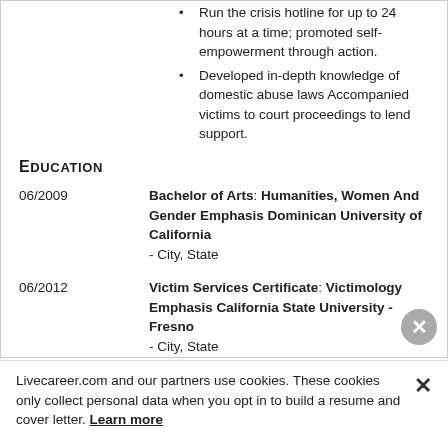Run the crisis hotline for up to 24 hours at a time; promoted self-empowerment through action.
Developed in-depth knowledge of domestic abuse laws Accompanied victims to court proceedings to lend support.
Education
06/2009
Bachelor of Arts: Humanities, Women And Gender Emphasis Dominican University of California
- City, State
06/2012
Victim Services Certificate: Victimology Emphasis California State University - Fresno
- City, State
06/2015
Master of Advance Study:
Livecareer.com and our partners use cookies. These cookies only collect personal data when you opt in to build a resume and cover letter. Learn more